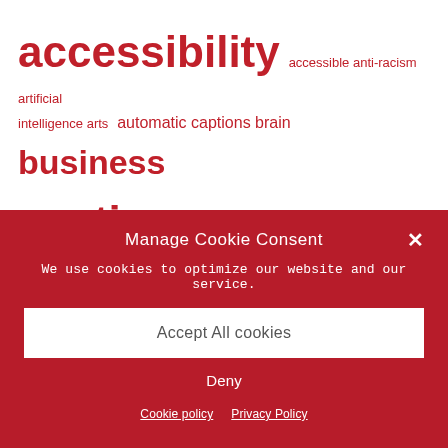[Figure (infographic): Tag cloud with words related to accessibility and captioning in red text on white background. Words vary in size: 'accessibility' is largest, followed by 'captions', 'business', 'college', 'Deaf', 'Hard of hearing', 'COVID-19', 'Live Captioning', 'International Day of People with Disability' in medium-large. Smaller words include accessible, anti-racism, artificial intelligence, arts, automatic, brain, closed captioning, coronavirus, corporate, discrimination, EEG, guide, human rights, IDPWD, lecture, live streaming.]
Manage Cookie Consent
We use cookies to optimize our website and our service.
Accept All cookies
Deny
Cookie policy   Privacy Policy